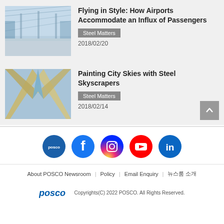[Figure (photo): Airport interior with large glass windows and steel structure]
Flying in Style: How Airports Accommodate an Influx of Passengers
Steel Matters
2018/02/20
[Figure (photo): Steel skyscrapers viewed from below against a blue sky, forming an X shape]
Painting City Skies with Steel Skyscrapers
Steel Matters
2018/02/14
[Figure (logo): Social media icons: POSCO, Facebook, Instagram, YouTube, LinkedIn]
About POSCO Newsroom | Policy | Email Enquiry | 뉴스룸 소개
POSCO Copyrights(C) 2022 POSCO. All Rights Reserved.